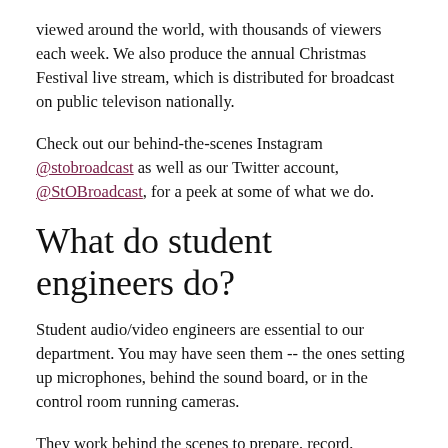viewed around the world, with thousands of viewers each week. We also produce the annual Christmas Festival live stream, which is distributed for broadcast on public televison nationally.
Check out our behind-the-scenes Instagram @stobroadcast as well as our Twitter account, @StOBroadcast, for a peek at some of what we do.
What do student engineers do?
Student audio/video engineers are essential to our department. You may have seen them -- the ones setting up microphones, behind the sound board, or in the control room running cameras.
They work behind the scenes to prepare, record, produce, and edit our broadcasts. In addition, they help out with other event sound and lighting as needed. Through the course of their work, they gain experience in a variety of